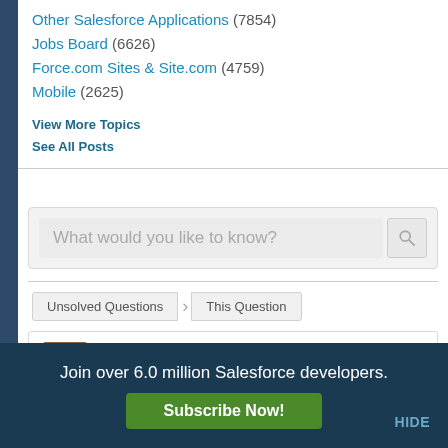Other Salesforce Applications (7854)
Jobs Board (6626)
Force.com Sites & Site.com (4759)
Mobile (2625)
View More Topics
See All Posts
What would you like to know?
Unsolved Questions › This Question
Andrea Sloan
Join over 6.0 million Salesforce developers.
Subscribe Now!
HIDE